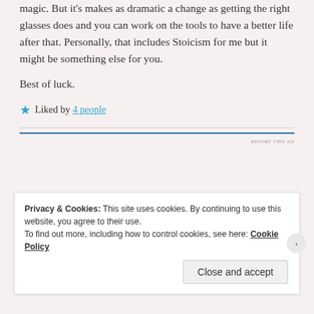magic. But it's makes as dramatic a change as getting the right glasses does and you can work on the tools to have a better life after that. Personally, that includes Stoicism for me but it might be something else for you.
Best of luck.
★ Liked by 4 people
Privacy & Cookies: This site uses cookies. By continuing to use this website, you agree to their use. To find out more, including how to control cookies, see here: Cookie Policy
Close and accept